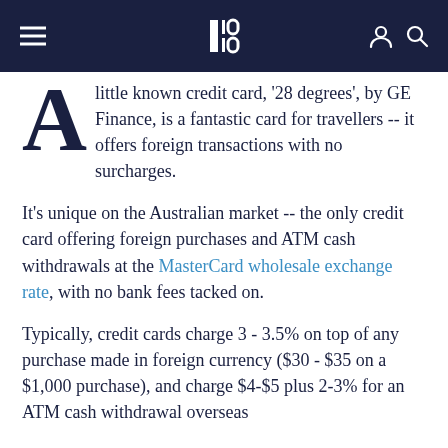EE
little known credit card, '28 degrees', by GE Finance, is a fantastic card for travellers -- it offers foreign transactions with no surcharges.
It's unique on the Australian market -- the only credit card offering foreign purchases and ATM cash withdrawals at the MasterCard wholesale exchange rate, with no bank fees tacked on.
Typically, credit cards charge 3 - 3.5% on top of any purchase made in foreign currency ($30 - $35 on a $1,000 purchase), and charge $4-$5 plus 2-3% for an ATM cash withdrawal overseas